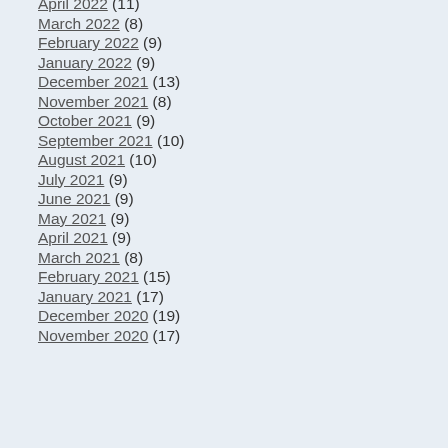April 2022 (11)
March 2022 (8)
February 2022 (9)
January 2022 (9)
December 2021 (13)
November 2021 (8)
October 2021 (9)
September 2021 (10)
August 2021 (10)
July 2021 (9)
June 2021 (9)
May 2021 (9)
April 2021 (9)
March 2021 (8)
February 2021 (15)
January 2021 (17)
December 2020 (19)
November 2020 (17)